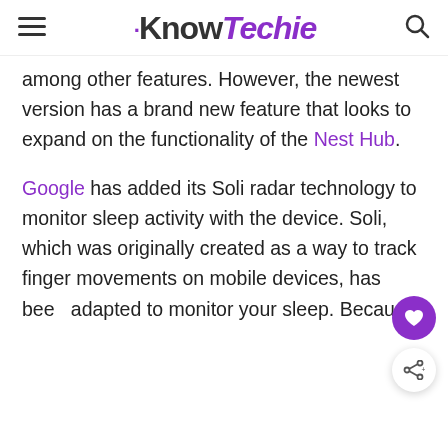KnowTechie
among other features. However, the newest version has a brand new feature that looks to expand on the functionality of the Nest Hub.
Google has added its Soli radar technology to monitor sleep activity with the device. Soli, which was originally created as a way to track finger movements on mobile devices, has been adapted to monitor your sleep. Because